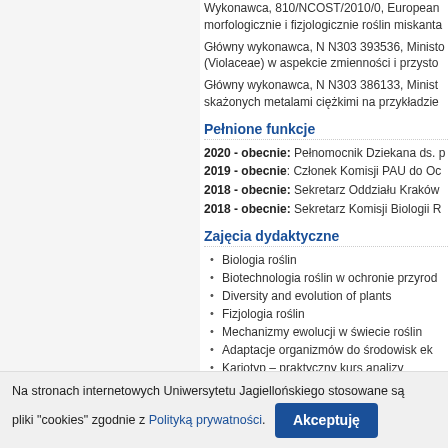Wykonawca, 810/NCOST/2010/0, European... morfologicznie i fizjologicznie roślin miskanta
Główny wykonawca, N N303 393536, Minist... (Violaceae) w aspekcie zmienności i przysto...
Główny wykonawca, N N303 386133, Minist... skażonych metalami ciężkimi na przykładzie
Pełnione funkcje
2020 - obecnie: Pełnomocnik Dziekana ds. ...
2019 - obecnie: Członek Komisji PAU do Oc...
2018 - obecnie: Sekretarz Oddziału Kraków...
2018 - obecnie: Sekretarz Komisji Biologii R...
Zajęcia dydaktyczne
Biologia roślin
Biotechnologia roślin w ochronie przyrod...
Diversity and evolution of plants
Fizjologia roślin
Mechanizmy ewolucji w świecie roślin
Adaptacje organizmów do środowisk ek...
Kariotyp – praktyczny kurs analizy
Proseminarium/Seminarium dyplomowe
Wybrane publikacje (selected publi...
Na stronach internetowych Uniwersytetu Jagiellońskiego stosowane są pliki "cookies" zgodnie z Polityką prywatności. Akceptuję